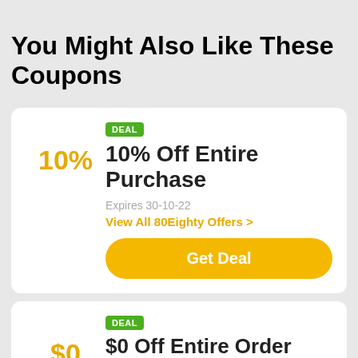You Might Also Like These Coupons
DEAL
10% Off Entire Purchase
Expires 30-10-22
View All 80Eighty Offers >
Get Deal
DEAL
$0 Off Entire Order
Expires 29-11-22
View All Crestline Offers >